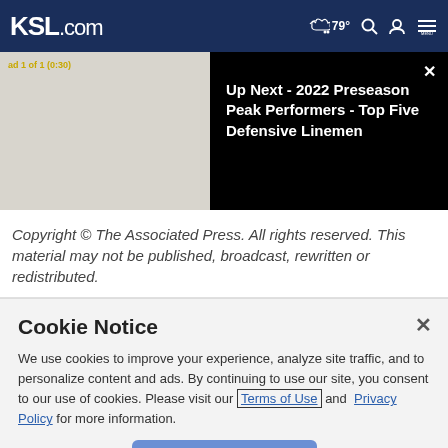KSL.com — 79° weather, search, account, menu
[Figure (screenshot): Video player showing ad (1 of 1, 0:30) on left panel with gray background, and 'Up Next - 2022 Preseason Peak Performers - Top Five Defensive Linemen' text on black right panel with close X button]
Copyright © The Associated Press. All rights reserved. This material may not be published, broadcast, rewritten or redistributed.
Cookie Notice
We use cookies to improve your experience, analyze site traffic, and to personalize content and ads. By continuing to use our site, you consent to our use of cookies. Please visit our Terms of Use and Privacy Policy for more information.
Continue